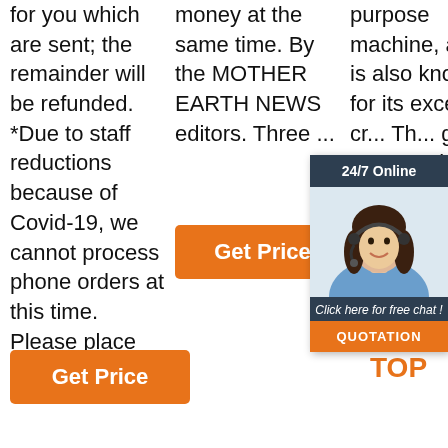for you which are sent; the remainder will be refunded. *Due to staff reductions because of Covid-19, we cannot process phone orders at this time. Please place your ord
money at the same time. By the MOTHER EARTH NEWS editors. Three ...
purpose machine, and it is also known for its excellent cr... Th... gr... co... st... be... ap... re... convenient maintenance, and installation, widely applying
[Figure (infographic): 24/7 online chat widget with a woman wearing a headset, dark navy background header reading '24/7 Online', photo of customer service representative, footer text 'Click here for free chat!', and orange QUOTATION button]
[Figure (logo): TOP logo in orange with dots above]